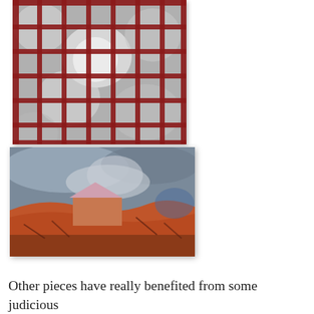[Figure (photo): Abstract textile or quilt artwork with a grid pattern of red/dark red strips intersecting over black-and-white photographic imagery]
[Figure (photo): Colorful quilt or textile artwork depicting a landscape scene with orange/red terrain, a building with a pink/purple roof, and a dramatic stormy blue-grey sky]
Other pieces have really benefited from some judicious